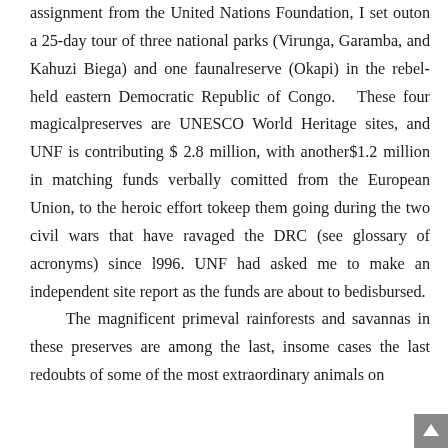assignment from the United Nations Foundation, I set outon a 25-day tour of three national parks (Virunga, Garamba, and Kahuzi Biega) and one faunalreserve (Okapi) in the rebel-held eastern Democratic Republic of Congo. These four magicalpreserves are UNESCO World Heritage sites, and UNF is contributing $ 2.8 million, with another$1.2 million in matching funds verbally comitted from the European Union, to the heroic effort tokeep them going during the two civil wars that have ravaged the DRC (see glossary of acronyms) since l996. UNF had asked me to make an independent site report as the funds are about to bedisbursed.
The magnificent primeval rainforests and savannas in these preserves are among the last, insome cases the last redoubts of some of the most extraordinary animals on